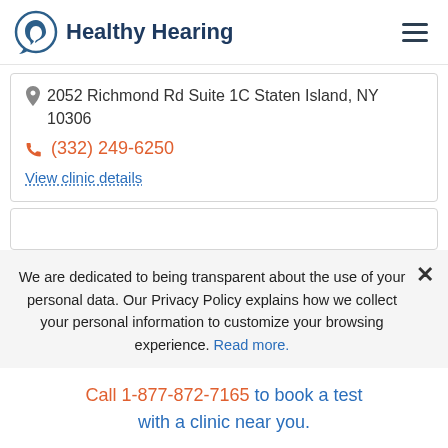Healthy Hearing
2052 Richmond Rd Suite 1C Staten Island, NY 10306
(332) 249-6250
View clinic details
We are dedicated to being transparent about the use of your personal data. Our Privacy Policy explains how we collect your personal information to customize your browsing experience. Read more.
Call 1-877-872-7165 to book a test with a clinic near you.